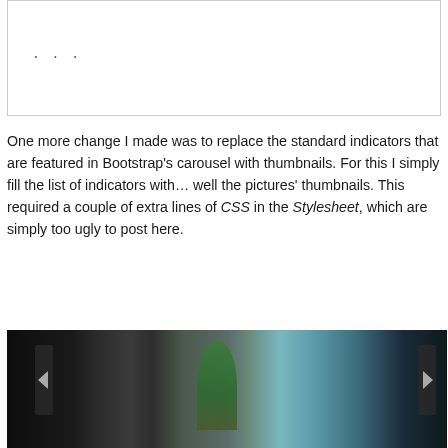[Figure (screenshot): Code block with border showing ellipsis (. . .) representing hidden code content]
One more change I made was to replace the standard indicators that are featured in Bootstrap's carousel with thumbnails. For this I simply fill the list of indicators with... well the pictures' thumbnails. This required a couple of extra lines of CSS in the Stylesheet, which are simply too ugly to post here.
[Figure (photo): Dark photograph of a carousel/slideshow interface with left and right navigation arrows, showing a nature scene with green tree and blue sky]